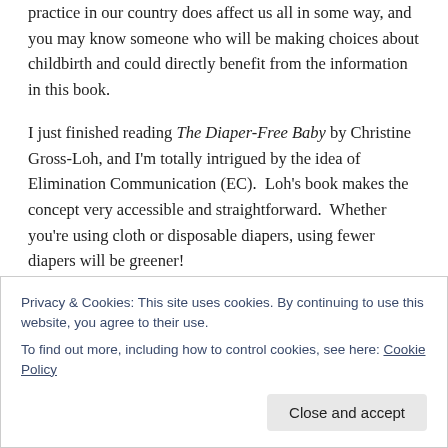practice in our country does affect us all in some way, and you may know someone who will be making choices about childbirth and could directly benefit from the information in this book.
I just finished reading The Diaper-Free Baby by Christine Gross-Loh, and I'm totally intrigued by the idea of Elimination Communication (EC). Loh's book makes the concept very accessible and straightforward. Whether you're using cloth or disposable diapers, using fewer diapers will be greener!
I also recently learned from A Midwife's Morning in S...
Privacy & Cookies: This site uses cookies. By continuing to use this website, you agree to their use.
To find out more, including how to control cookies, see here: Cookie Policy
Close and accept